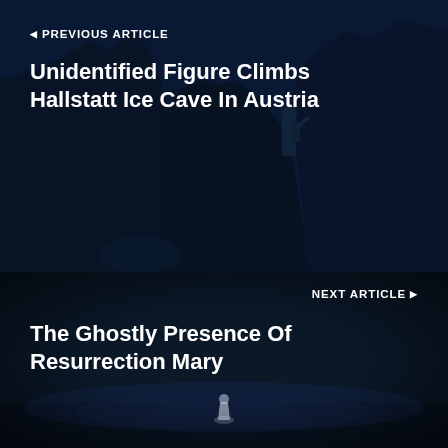[Figure (photo): Dark blue-toned mountain ice cave scene with rocky cliffs and a figure standing in shadow]
◀ PREVIOUS ARTICLE
Unidentified Figure Climbs Hallstatt Ice Cave In Austria
[Figure (photo): Dark blue-toned night scene with a ghostly small figure in white in a misty landscape]
NEXT ARTICLE ▶
The Ghostly Presence Of Resurrection Mary